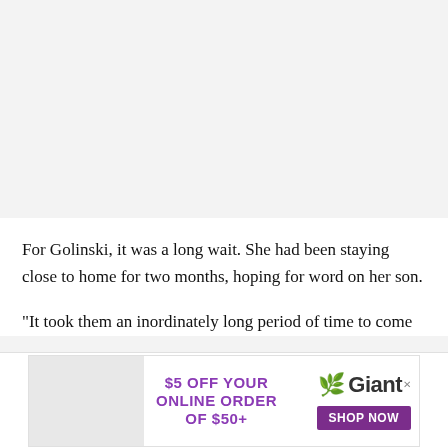[Figure (photo): Large image placeholder area at the top of the page, light gray background, no visible image content.]
For Golinski, it was a long wait. She had been staying close to home for two months, hoping for word on her son.
"It took them an inordinately long period of time to come
[Figure (infographic): Advertisement banner for Giant grocery store: '$5 OFF YOUR ONLINE ORDER OF $50+' with Giant logo and 'SHOP NOW' button, grocery image on the left.]